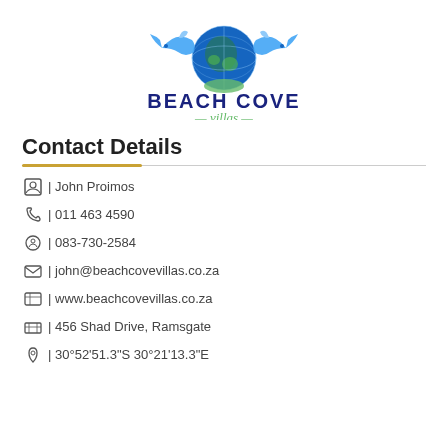[Figure (logo): Beach Cove Villas logo with dolphins and globe]
Contact Details
| John Proimos
| 011 463 4590
| 083-730-2584
| john@beachcovevillas.co.za
| www.beachcovevillas.co.za
| 456 Shad Drive, Ramsgate
| 30°52'51.3"S 30°21'13.3"E